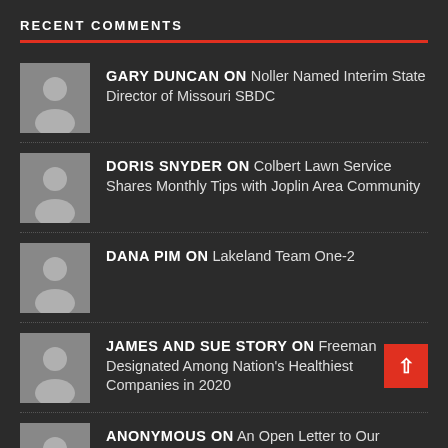RECENT COMMENTS
GARY DUNCAN ON Noller Named Interim State Director of Missouri SBDC
DORIS SNYDER ON Colbert Lawn Service Shares Monthly Tips with Joplin Area Community
DANA PIM ON Lakeland Team One-2
JAMES AND SUE STORY ON Freeman Designated Among Nation's Healthiest Companies in 2020
ANONYMOUS ON An Open Letter to Our Community